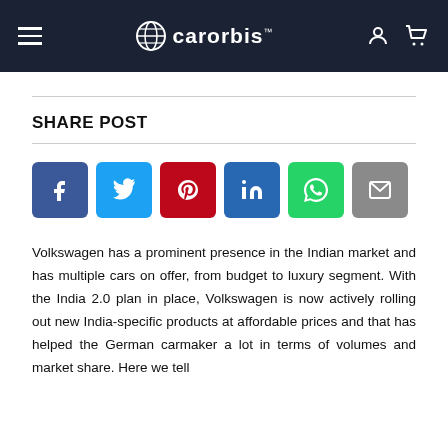carorbis
SHARE POST
[Figure (infographic): Social media share buttons: Facebook, Twitter, Pinterest, LinkedIn, WhatsApp, Email]
Volkswagen has a prominent presence in the Indian market and has multiple cars on offer, from budget to luxury segment. With the India 2.0 plan in place, Volkswagen is now actively rolling out new India-specific products at affordable prices and that has helped the German carmaker a lot in terms of volumes and market share. Here we tell